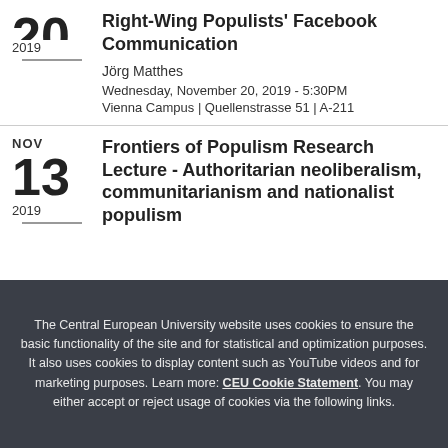Right-Wing Populists' Facebook Communication
Jörg Matthes
Wednesday, November 20, 2019 - 5:30PM
Vienna Campus | Quellenstrasse 51 | A-211
Frontiers of Populism Research Lecture - Authoritarian neoliberalism, communitarianism and nationalist populism
The Central European University website uses cookies to ensure the basic functionality of the site and for statistical and optimization purposes. It also uses cookies to display content such as YouTube videos and for marketing purposes. Learn more: CEU Cookie Statement. You may either accept or reject usage of cookies via the following links.